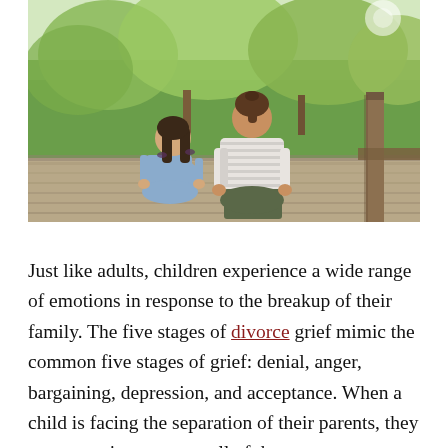[Figure (photo): A woman and a young girl sitting with their backs to the camera on a wooden deck or porch, facing a green lawn with trees. The girl has braided hair and wears a blue dress; the woman wears a striped shirt and dark pants. A wooden post or structure is visible on the right.]
Just like adults, children experience a wide range of emotions in response to the breakup of their family. The five stages of divorce grief mimic the common five stages of grief: denial, anger, bargaining, depression, and acceptance. When a child is facing the separation of their parents, they may experience any or all of these